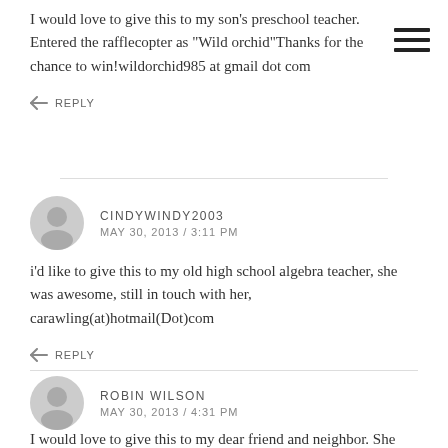I would love to give this to my son's preschool teacher. Entered the rafflecopter as "Wild orchid"Thanks for the chance to win!wildorchid985 at gmail dot com
REPLY
CINDYWINDY2003
MAY 30, 2013 / 3:11 PM
i'd like to give this to my old high school algebra teacher, she was awesome, still in touch with her, carawling(at)hotmail(Dot)com
REPLY
ROBIN WILSON
MAY 30, 2013 / 4:31 PM
I would love to give this to my dear friend and neighbor. She teaches 3rd grade, loves her kids and is one of the hardest working people I have